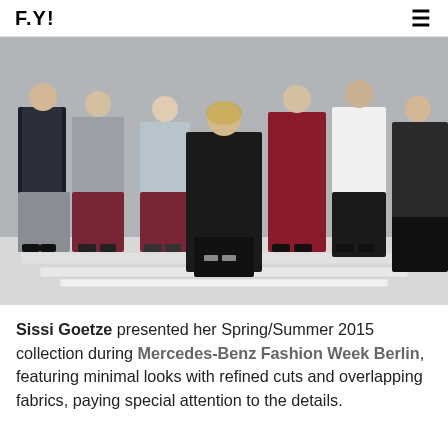F.Y!
[Figure (photo): Fashion designer Sissi Goetze standing in the center of a lineup of male models on a white tiered stage. The models wear Spring/Summer 2015 menswear looks including dark floral prints, grey and burgundy trousers, a burgundy jacket, and white shirts. The designer wears an all-black outfit with strappy sandals.]
Sissi Goetze presented her Spring/Summer 2015 collection during Mercedes-Benz Fashion Week Berlin, featuring minimal looks with refined cuts and overlapping fabrics, paying special attention to the details.